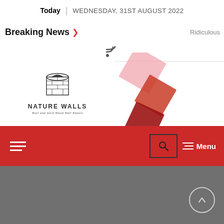Today | WEDNESDAY, 31ST AUGUST 2022
Breaking News > Ridiculous
[Figure (logo): RSS feed icon]
[Figure (logo): Nature Walls logo with building icon, text 'NATURE WALLS' and subtitle 'Peel and Stick Wood Wall Panels']
[Figure (illustration): Decorative diamond shapes in pink, orange-red, dark red, and dark green overlapping diagonally]
[Figure (screenshot): Red navigation bar with hamburger menu on left, search icon and Menu button on right]
[Figure (other): Gray content area with scroll-to-top button circle at bottom right]